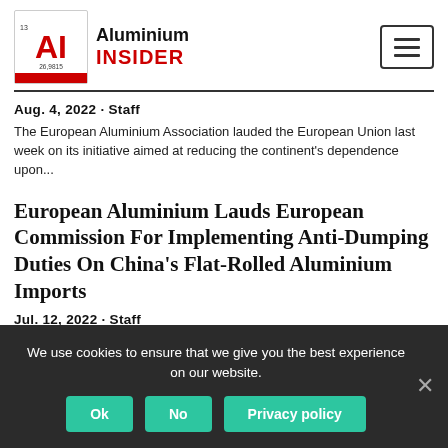Aluminium Insider
Aug. 4, 2022 - Staff
The European Aluminium Association lauded the European Union last week on its initiative aimed at reducing the continent's dependence upon...
European Aluminium Lauds European Commission For Implementing Anti-Dumping Duties On China's Flat-Rolled Aluminium Imports
Jul. 12, 2022 - Staff
Aluminium trade group European Aluminium applauded the European Commission last week for its decision to end the nine-
We use cookies to ensure that we give you the best experience on our website.